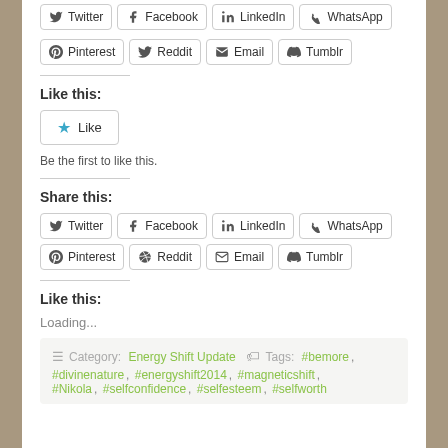[Figure (screenshot): Partial social share buttons row (Twitter, Facebook, LinkedIn, WhatsApp) cropped at top of page]
[Figure (screenshot): Social share buttons row: Pinterest, Reddit, Email, Tumblr]
Like this:
[Figure (screenshot): Like button with blue star icon]
Be the first to like this.
Share this:
[Figure (screenshot): Social share buttons: Twitter, Facebook, LinkedIn, WhatsApp]
[Figure (screenshot): Social share buttons: Pinterest, Reddit, Email, Tumblr]
Like this:
Loading...
Category: Energy Shift Update   Tags: #bemore, #divinenature, #energyshift2014, #magneticshift, #Nikola, #selfconfidence, #selfesteem, #selfworth